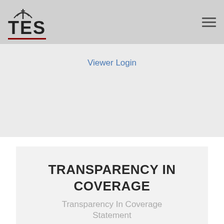TES
Viewer Login
TRANSPARENCY IN COVERAGE
Transparency In Coverage Statement